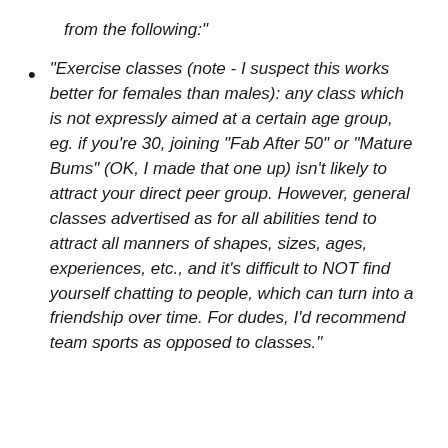from the following:"
"Exercise classes (note - I suspect this works better for females than males): any class which is not expressly aimed at a certain age group, eg. if you’re 30, joining “Fab After 50” or “Mature Bums” (OK, I made that one up) isn’t likely to attract your direct peer group. However, general classes advertised as for all abilities tend to attract all manners of shapes, sizes, ages, experiences, etc., and it’s difficult to NOT find yourself chatting to people, which can turn into a friendship over time. For dudes, I’d recommend team sports as opposed to classes."